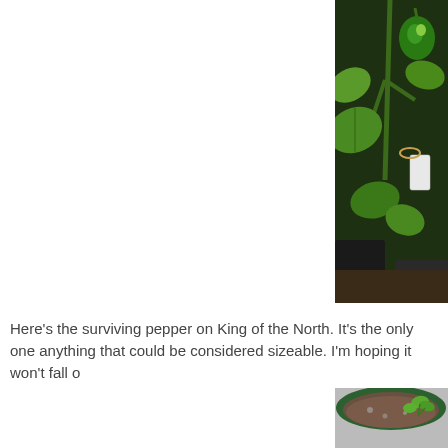[Figure (photo): Close-up photograph of a green pepper growing on a pepper plant (King of the North variety), with green leaves, stems, and a plant label tag tied with twine. Other pots visible in background.]
Here's the surviving pepper on King of the North. It's the only one anything that could be considered sizeable. I'm hoping it won't fall o
[Figure (photo): Photograph of a green circular planter pot filled with soil and small seedling plants emerging from the dirt, viewed from above at an angle.]